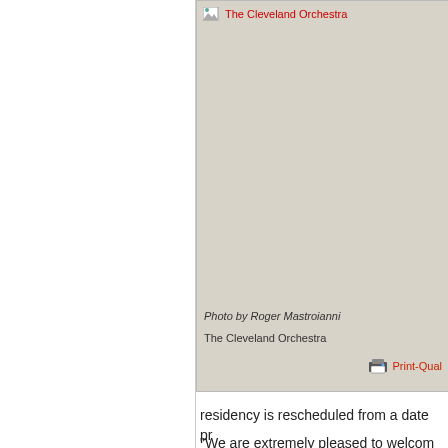[Figure (photo): The Cleveland Orchestra photo (broken image placeholder on beige/tan background) with alt text 'The Cleveland Orchestra']
Photo by Roger Mastroianni
The Cleveland Orchestra
residency is rescheduled from a date pr
"We are extremely pleased to welcom